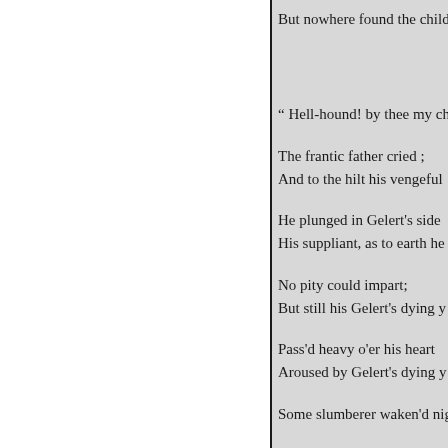But nowhere found the child !

" Hell-hound! by thee my chil

The frantic father cried ;
And to the hilt his vengeful

He plunged in Gelert's side
His suppliant, as to earth he

No pity could impart;
But still his Gelert's dying y

Pass'd heavy o'er his heart
Aroused by Gelert's dying y

Some slumberer waken'd nigh: W

To hear his infant cry! Concea

His hurried search had mis
All glowing from his rocu